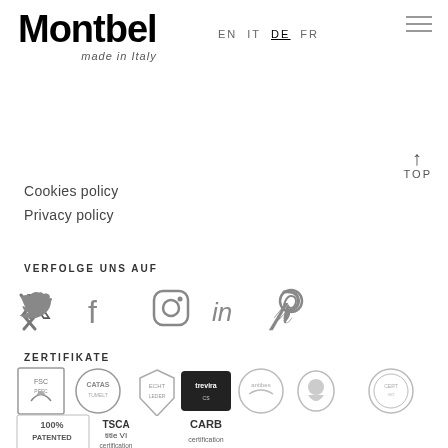[Figure (logo): Montbel made in Italy logo]
EN  IT  DE  FR
↑
TOP
Cookies policy
Privacy policy
VERFOLGE UNS AUF
[Figure (illustration): Social media icons: Twitter, Facebook, Instagram, LinkedIn, Pinterest]
ZERTIFIKATE
[Figure (illustration): Certification badges row 1: FSC, CATAS, leather certification, trevira, antibes, and two other round stamps]
[Figure (illustration): Certification badges row 2: 100% PATENTED, TSCA title VI certification, CARB certification]